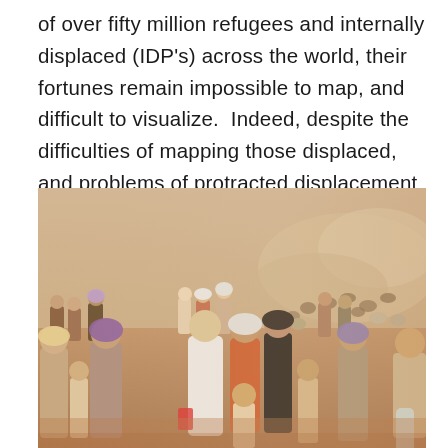of over fifty million refugees and internally displaced (IDP's) across the world, their fortunes remain impossible to map, and difficult to visualize.  Indeed, despite the difficulties of mapping those displaced, and problems of protracted displacement that have eroded societies, images often remain far more powerful than maps.
[Figure (photo): A large crowd of displaced people, including women and children in traditional dress, walking across a dusty desert landscape. Behind them, herds of sheep and cattle raise dust clouds. The scene depicts refugees or IDPs fleeing en masse.]